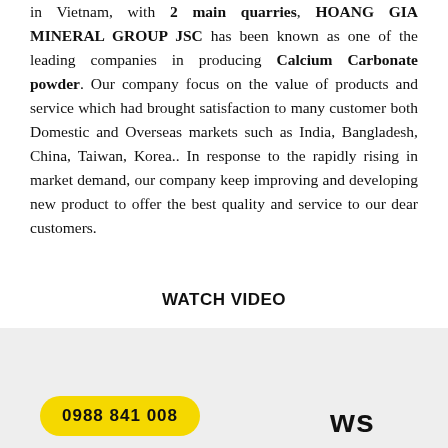in Vietnam, with 2 main quarries, HOANG GIA MINERAL GROUP JSC has been known as one of the leading companies in producing Calcium Carbonate powder. Our company focus on the value of products and service which had brought satisfaction to many customer both Domestic and Overseas markets such as India, Bangladesh, China, Taiwan, Korea.. In response to the rapidly rising in market demand, our company keep improving and developing new product to offer the best quality and service to our dear customers.
WATCH VIDEO
0988 841 008
WS